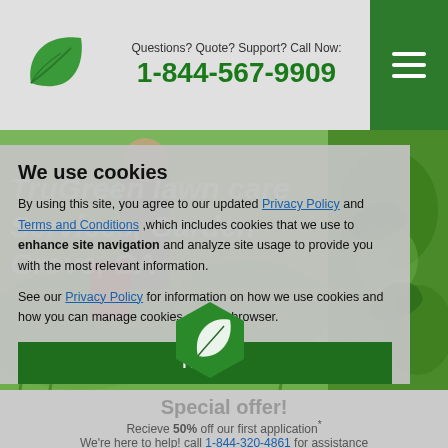Questions? Quote? Support? Call Now: 1-844-567-9909
[Figure (logo): Green leaf logo for TruGreen lawn care]
We use cookies
By using this site, you agree to our updated Privacy Policy and Terms and Conditions, which includes cookies that we use to enhance site navigation and analyze site usage to provide you with the most relevant information.
See our Privacy Policy for information on how we use cookies and how you can manage cookies on your browser.
I agree
[Figure (photo): Background hero image of lawn care]
TruGreen lawn care Services, Garden Grove, CA
[Figure (logo): Green hexagon with leaf icon]
Special offer!
Recieve 50% off your first application* We're here to help! call 1-844-320-4861 for assistance